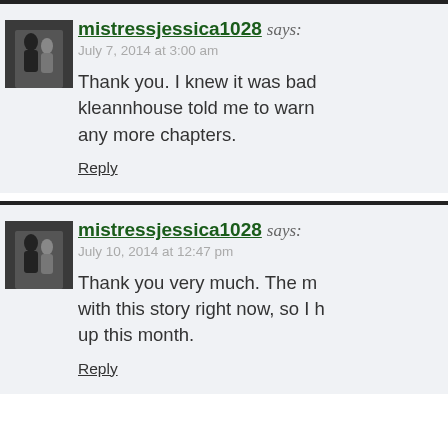mistressjessica1028 says:
July 7, 2014 at 3:00 am
Thank you. I knew it was bad kleannhouse told me to warn any more chapters.
Reply
mistressjessica1028 says:
July 10, 2014 at 12:47 pm
Thank you very much. The m with this story right now, so I up this month.
Reply